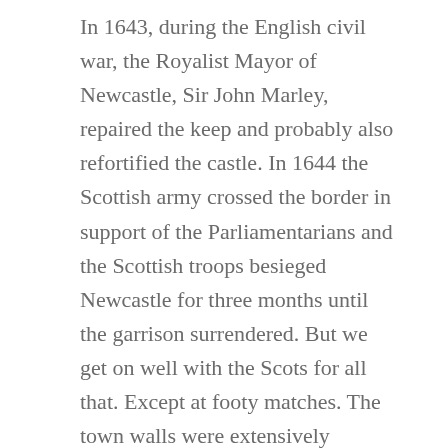In 1643, during the English civil war, the Royalist Mayor of Newcastle, Sir John Marley, repaired the keep and probably also refortified the castle. In 1644 the Scottish army crossed the border in support of the Parliamentarians and the Scottish troops besieged Newcastle for three months until the garrison surrendered. But we get on well with the Scots for all that. Except at footy matches. The town walls were extensively damaged and the final forces to surrender on 19 October 1644 did so from the Castle keep.
During the 16th to the 18th century, the